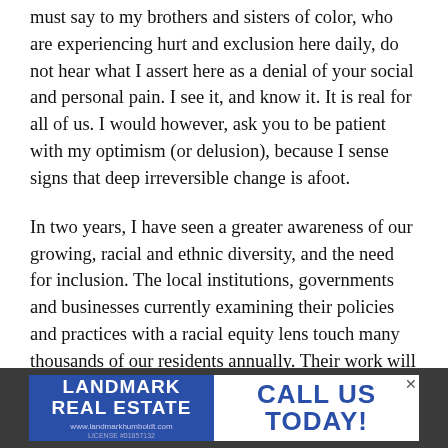must say to my brothers and sisters of color, who are experiencing hurt and exclusion here daily, do not hear what I assert here as a denial of your social and personal pain. I see it, and know it. It is real for all of us. I would however, ask you to be patient with my optimism (or delusion), because I sense signs that deep irreversible change is afoot.
In two years, I have seen a greater awareness of our growing, racial and ethnic diversity, and the need for inclusion. The local institutions, governments and businesses currently examining their policies and practices with a racial equity lens touch many thousands of our residents annually. Their work will transform how they view and serve all of their constituents. Now, I'd be the last person to confuse talk with change. But I have
[Figure (other): Advertisement banner for Landmark Real Estate with blue background on left side showing 'LANDMARK REAL ESTATE' text and website/license info, and right side showing 'CALL US TODAY!' in bold blue text on white background.]